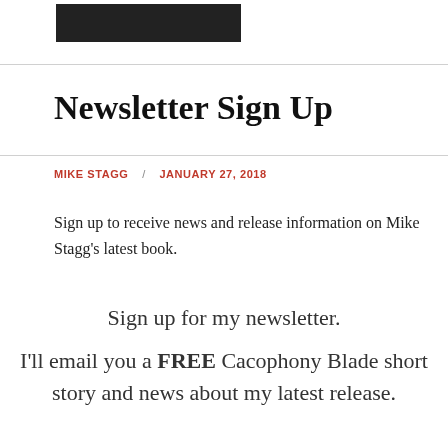[Figure (photo): Dark/black image at top of page]
Newsletter Sign Up
MIKE STAGG / JANUARY 27, 2018
Sign up to receive news and release information on Mike Stagg's latest book.
Sign up for my newsletter.
I'll email you a FREE Cacophony Blade short story and news about my latest release.